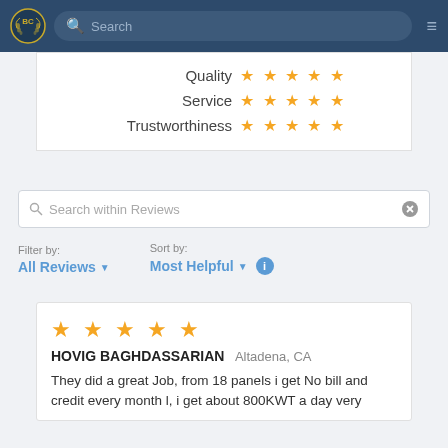BC [logo] Search [search bar] [menu]
Quality ★★★★★
Service ★★★★★
Trustworthiness ★★★★★
Search within Reviews
Filter by: All Reviews
Sort by: Most Helpful
★★★★★
HOVIG BAGHDASSARIAN  Altadena, CA
They did a great Job, from 18 panels i get No bill and credit every month l, i get about 800KWT a day very